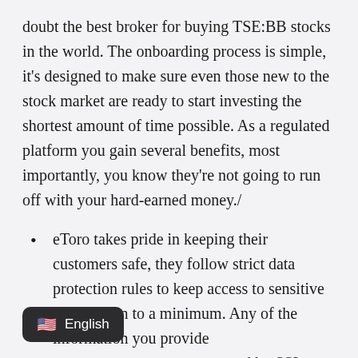doubt the best broker for buying TSE:BB stocks in the world. The onboarding process is simple, it's designed to make sure even those new to the stock market are ready to start investing the shortest amount of time possible. As a regulated platform you gain several benefits, most importantly, you know they're not going to run off with your hard-earned money./
eToro takes pride in keeping their customers safe, they follow strict data protection rules to keep access to sensitive information to a minimum. Any of the information you provide [is] protected by SSL encryption, [means] that even if someone were to